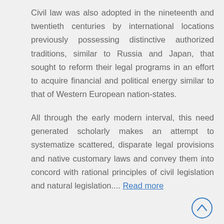Civil law was also adopted in the nineteenth and twentieth centuries by international locations previously possessing distinctive authorized traditions, similar to Russia and Japan, that sought to reform their legal programs in an effort to acquire financial and political energy similar to that of Western European nation-states.
All through the early modern interval, this need generated scholarly makes an attempt to systematize scattered, disparate legal provisions and native customary laws and convey them into concord with rational principles of civil legislation and natural legislation.... Read more